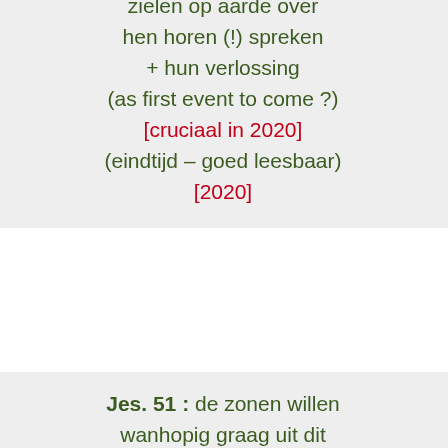zielen op aarde over hen horen (!) spreken + hun verlossing (as first event to come ?) [cruciaal in 2020] (eindtijd – goed leesbaar) [2020]
Jes. 51 : de zonen willen wanhopig graag uit dit lichaam dat hun vasthoudt (God zegt 'nu is het genoeg') [cruciaal in 2020] (eindtijd – goed leesbaar) [2020]
Jes. 50: de zonen annuleren 'de scheidings-brief' gegeven